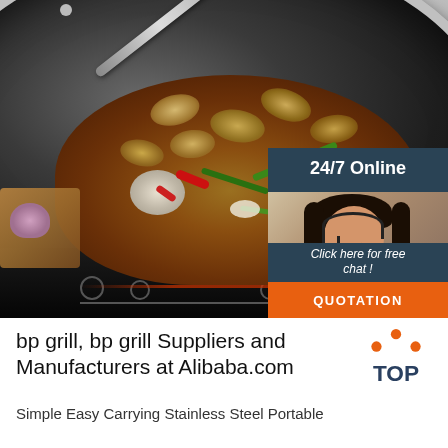[Figure (photo): A stainless steel wok/pan with honeycomb pattern interior filled with stir-fried clams with green scallions and red peppers, sitting on an induction cooktop. Overlay in upper right shows a 24/7 Online customer service chat widget with a woman wearing a headset, a 'Click here for free chat!' message, and an orange QUOTATION button. A red circular badge with '26/' is visible near the bottom center.]
bp grill, bp grill Suppliers and Manufacturers at Alibaba.com
Simple Easy Carrying Stainless Steel Portable